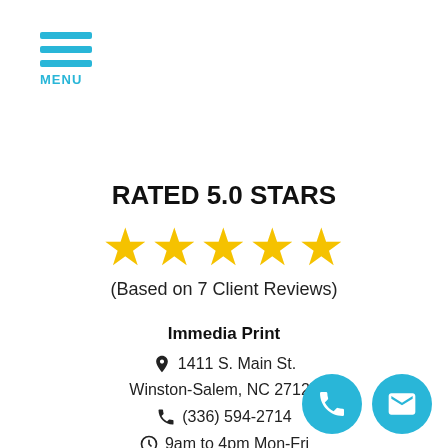MENU
RATED 5.0 STARS
[Figure (illustration): Five gold stars representing a 5.0 star rating]
(Based on 7 Client Reviews)
Immedia Print
1411 S. Main St.
Winston-Salem, NC 27127
(336) 594-2714
9am to 4pm Mon-Fri